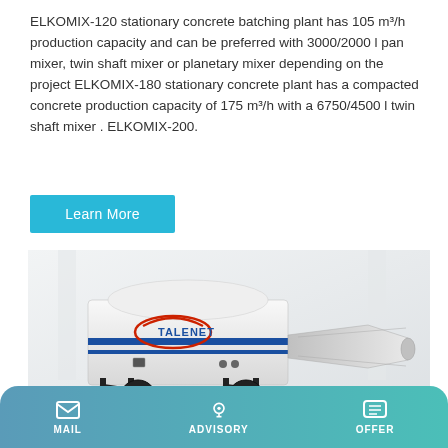ELKOMIX-120 stationary concrete batching plant has 105 m³/h production capacity and can be preferred with 3000/2000 l pan mixer, twin shaft mixer or planetary mixer depending on the project ELKOMIX-180 stationary concrete plant has a compacted concrete production capacity of 175 m³/h with a 6750/4500 l twin shaft mixer . ELKOMIX-200.
Learn More
[Figure (photo): A white TALENET branded concrete pump machine on wheels with an extending chute, shown in a white studio-like environment.]
MAIL | ADVISORY | OFFER